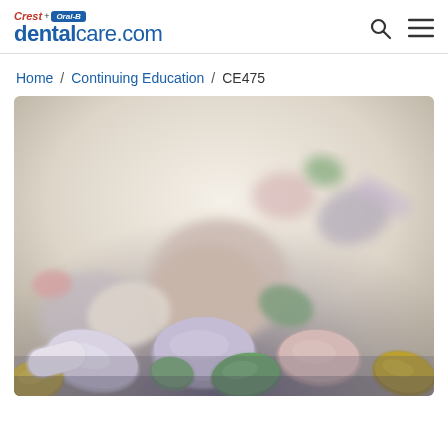Crest + Oral-B dentalcare.com
Home / Continuing Education / CE475
[Figure (photo): Close-up photograph of assorted pharmaceutical tablets and capsules in various colors including white, green, yellow, pink, and purple, scattered on a surface.]